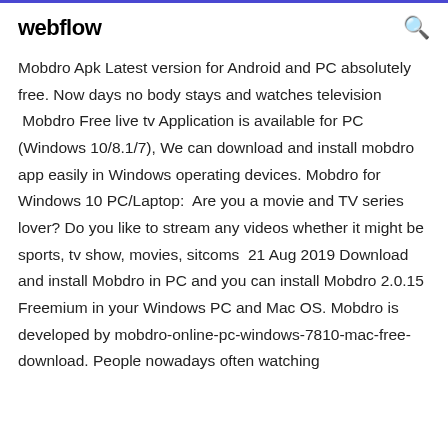webflow
Mobdro Apk Latest version for Android and PC absolutely free. Now days no body stays and watches television  Mobdro Free live tv Application is available for PC (Windows 10/8.1/7), We can download and install mobdro app easily in Windows operating devices. Mobdro for Windows 10 PC/Laptop: Are you a movie and TV series lover? Do you like to stream any videos whether it might be sports, tv show, movies, sitcoms  21 Aug 2019 Download and install Mobdro in PC and you can install Mobdro 2.0.15 Freemium in your Windows PC and Mac OS. Mobdro is developed by mobdro-online-pc-windows-7810-mac-free-download. People nowadays often watching